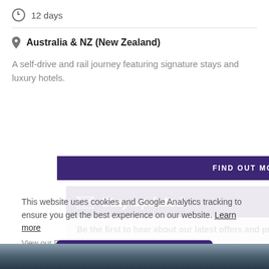12 days
Australia & NZ (New Zealand)
A self-drive and rail journey featuring signature stays and luxury hotels.
FIND OUT MORE
Stay updated
Be the first to hear about our latest offers and promotions.
SUBSCRIBE
This website uses cookies and Google Analytics tracking to ensure you get the best experience on our website. Learn more
View our Privacy Policy
Got it!